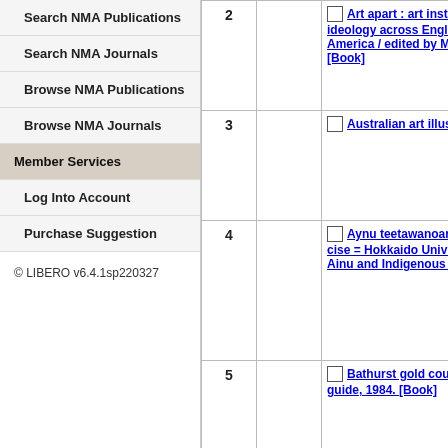Search NMA Publications
Search NMA Journals
Browse NMA Publications
Browse NMA Journals
Member Services
Log Into Account
Purchase Suggestion
© LIBERO v6.4.1sp220327
| # |  | Title |
| --- | --- | --- |
| 2 |  | Art apart : art institu ideology across England America / edited by Marc [Book] |
| 3 |  | Australian art illustr |
| 4 |  | Aynu teetawanoanko cise = Hokkaido Univers Ainu and Indigenous Stu |
| 5 |  | Bathurst gold count guide, 1984. [Book] |
| 6 |  | Butchatsky Family H compiled by Oleh Butcha [Archives] |